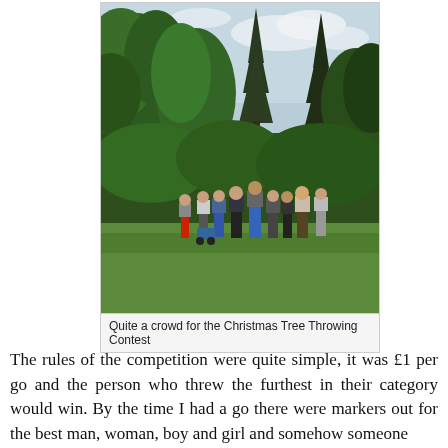[Figure (photo): A crowd of people standing on a grass lawn surrounded by tall trees, viewed from behind, apparently gathered for a Christmas Tree Throwing Contest.]
Quite a crowd for the Christmas Tree Throwing Contest
The rules of the competition were quite simple, it was £1 per go and the person who threw the furthest in their category would win. By the time I had a go there were markers out for the best man, woman, boy and girl and somehow someone